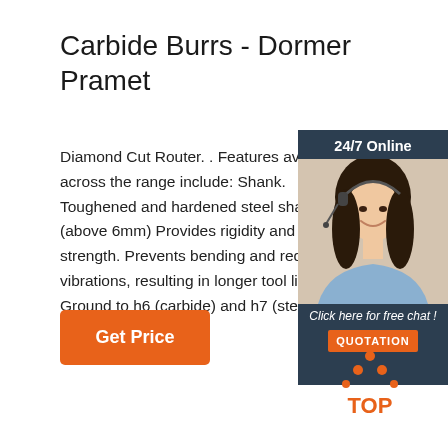Carbide Burrs - Dormer Pramet
Diamond Cut Router. . Features available across the range include: Shank. Toughened and hardened steel shank (above 6mm) Provides rigidity and strength. Prevents bending and reduces vibrations, resulting in longer tool life. Ground to h6 (carbide) and h7 (steel) for improved holding.
[Figure (photo): Customer service agent - woman wearing headset smiling, in a dark teal chat widget sidebar with '24/7 Online' header, italic text 'Click here for free chat!', and an orange QUOTATION button]
[Figure (logo): TOP logo with orange triangle made of dots above the word TOP in orange text]
Get Price